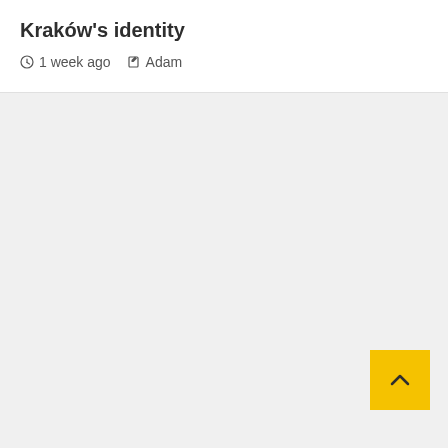Kraków's identity
1 week ago  Adam